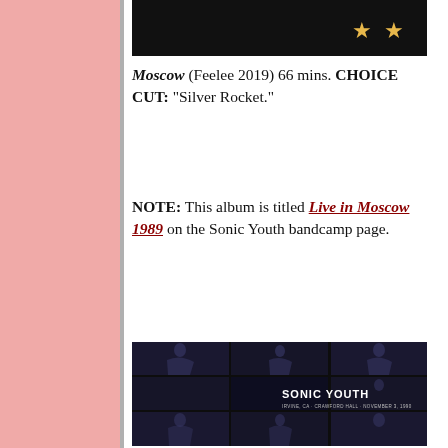[Figure (photo): Dark album cover with gold star symbols on black background, partially visible at top]
Moscow (Feelee 2019) 66 mins. CHOICE CUT: "Silver Rocket."
NOTE: This album is titled Live in Moscow 1989 on the Sonic Youth bandcamp page.
[Figure (photo): Sonic Youth album/concert photo - grid of 9 black and white concert images showing performers, with SONIC YOUTH text overlay and IRVINE, CA - CRAWFORD HALL - NOVEMBER 3, 1990]
Irvine, CA -- Crawford Hall -- November 3, 1990 (nugs.net 2019) 69 mins. Well-recorded show from the Goo tour, remixed in 2005 for projected